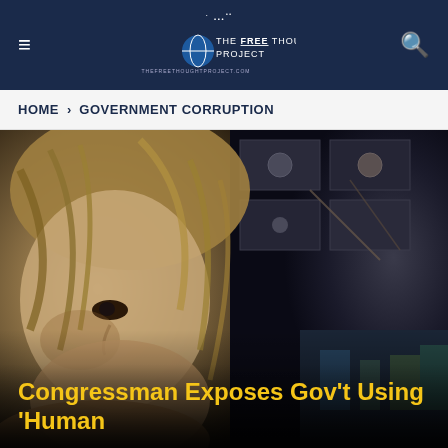THE FREE THOUGHT PROJECT
HOME > GOVERNMENT CORRUPTION
[Figure (photo): Close-up photo of a disheveled young girl with long messy blonde hair looking intensely at the camera, with a blurred background showing an interior ceiling with fluorescent lights.]
Congressman Exposes Gov't Using 'Human